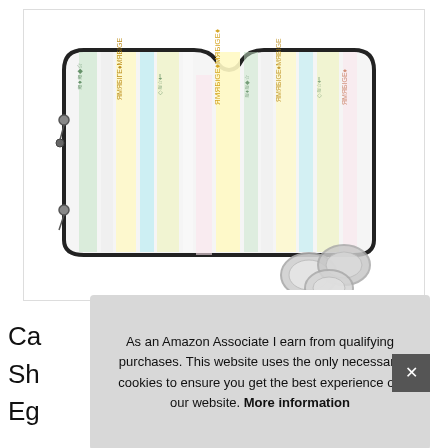[Figure (photo): A car windshield sun shade with colorful Egyptian hieroglyphic-style pattern, shown with suction cups accessories on white background]
Ca
Sh
Eg
As an Amazon Associate I earn from qualifying purchases. This website uses the only necessary cookies to ensure you get the best experience on our website. More information